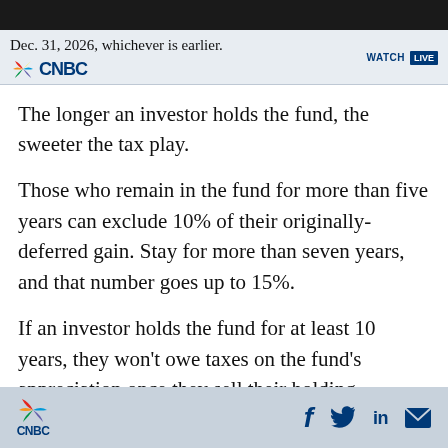Dec. 31, 2026, whichever is earlier.
The longer an investor holds the fund, the sweeter the tax play.
Those who remain in the fund for more than five years can exclude 10% of their originally-deferred gain. Stay for more than seven years, and that number goes up to 15%.
If an investor holds the fund for at least 10 years, they won't owe taxes on the fund's appreciation once they sell their holding.
CNBC | Share icons: Facebook, Twitter, LinkedIn, Email